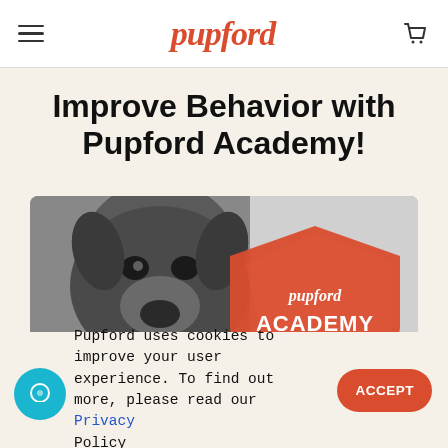pupford
Improve Behavior with Pupford Academy!
[Figure (photo): Black and white photo of a dog (pointer breed) with a red shield badge overlay reading 'pupford ACADEMY' with three gold stars]
Pupford uses cookies to improve your user experience. To find out more, please read our Privacy Policy
ACCEPT